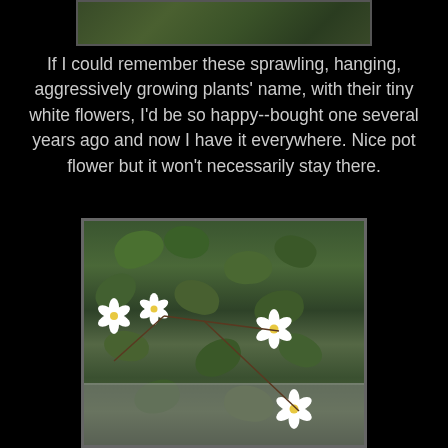[Figure (photo): Top portion of a photo of green leafy plants, cropped at top of page]
If I could remember these sprawling, hanging, aggressively growing plants' name, with their tiny white flowers, I'd be so happy--bought one several years ago and now I have it everywhere. Nice pot flower but it won't necessarily stay there.
[Figure (photo): Photo of sprawling green plants with small round leaves and tiny white flowers with yellow centers, growing in a pot]